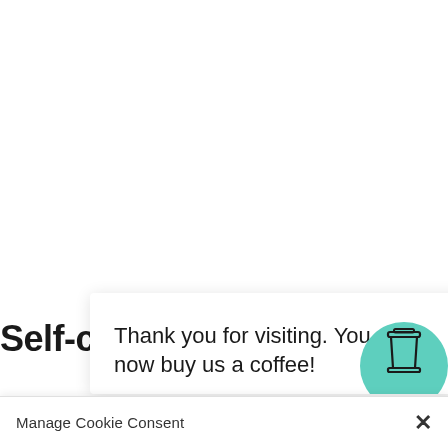Self-c
[Figure (illustration): Cookie consent popup overlay with message 'Thank you for visiting. You can now buy us a coffee!' and a teal/mint colored coffee cup icon on the right side]
Thank you for visiting. You can now buy us a coffee!
Manage Cookie Consent  ×